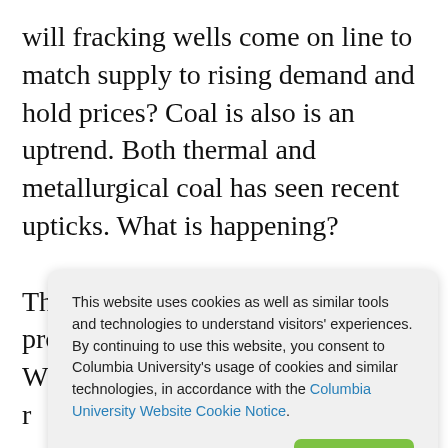will fracking wells come on line to match supply to rising demand and hold prices? Coal is also is an uptrend. Both thermal and metallurgical coal has seen recent upticks. What is happening?

The new administration is promising new policies in energy. What will be the impact on r[obscured] p[obscured] fi[obscured] d[obscured] T[obscured] a[obscured] N[obscured] t[obscured]
This website uses cookies as well as similar tools and technologies to understand visitors' experiences. By continuing to use this website, you consent to Columbia University's usage of cookies and similar technologies, in accordance with the Columbia University Website Cookie Notice.